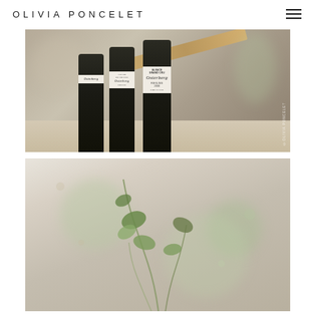OLIVIA PONCELET
[Figure (photo): Close-up photo of dark wine bottles on a table, with front bottle showing label: ALSACE GRAND CRU, Osterberg, RIESLING 2008, RIBEAUVILLE. Watermark: ©OLIVIA PONCELET]
[Figure (photo): Photo of green plant/vine with leaves against a light blurred background]